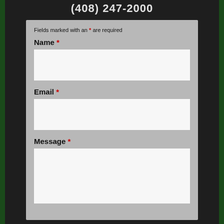(408) 247-2000
Fields marked with an * are required
Name *
Email *
Message *